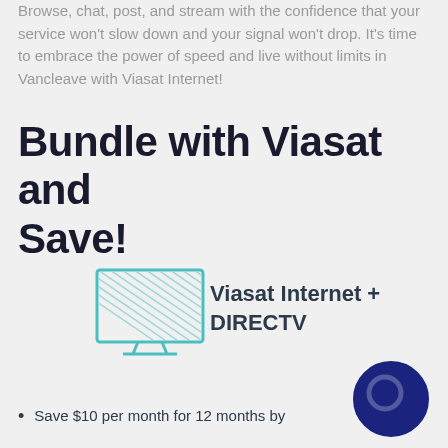Browse, chat, post, and stream with the confidence that your service won't slow down and your signal won't drop. It's time to embrace the power of speed and live without limits in Vancleave with Viasat Internet!
Bundle with Viasat and Save!
[Figure (illustration): Teal outline icon of a desktop computer monitor with hatching pattern, on a stand]
Viasat Internet + DIRECTV
[Figure (illustration): Dark navy blue circular badge/button with inner circle highlight]
Save $10 per month for 12 months by bundling Viasat Internet and DIRECTV